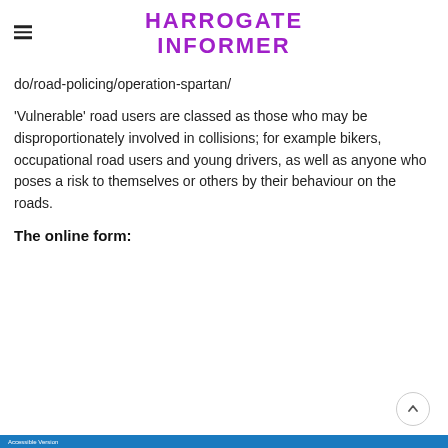HARROGATE INFORMER
do/road-policing/operation-spartan/
'Vulnerable' road users are classed as those who may be disproportionately involved in collisions; for example bikers, occupational road users and young drivers, as well as anyone who poses a risk to themselves or others by their behaviour on the roads.
The online form:
Accessible Version